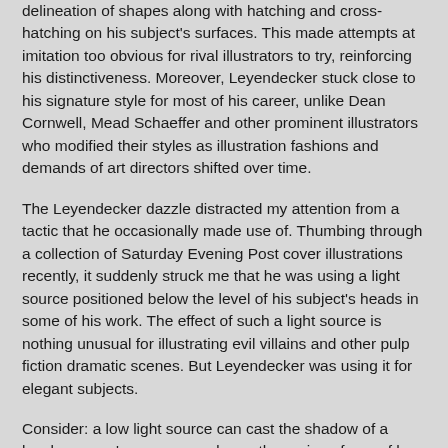delineation of shapes along with hatching and cross-hatching on his subject's surfaces. This made attempts at imitation too obvious for rival illustrators to try, reinforcing his distinctiveness. Moreover, Leyendecker stuck close to his signature style for most of his career, unlike Dean Cornwell, Mead Schaeffer and other prominent illustrators who modified their styles as illustration fashions and demands of art directors shifted over time.
The Leyendecker dazzle distracted my attention from a tactic that he occasionally made use of. Thumbing through a collection of Saturday Evening Post cover illustrations recently, it suddenly struck me that he was using a light source positioned below the level of his subject's heads in some of his work. The effect of such a light source is nothing unusual for illustrating evil villains and other pulp fiction dramatic scenes. But Leyendecker was using it for elegant subjects.
Consider: a low light source can cast the shadow of a lovely woman's nose upward over the region of one of her beautiful eyes. Painting this effect while maintaining the attractiveness